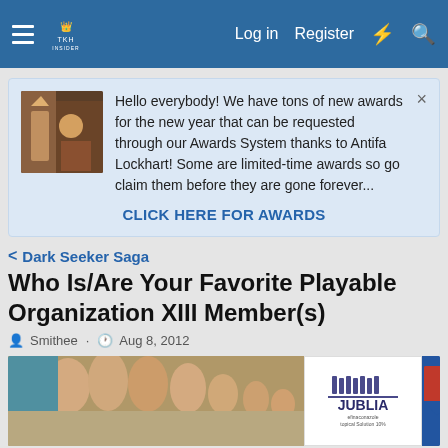Log in  Register
Hello everybody! We have tons of new awards for the new year that can be requested through our Awards System thanks to Antifa Lockhart! Some are limited-time awards so go claim them before they are gone forever...
CLICK HERE FOR AWARDS
Dark Seeker Saga
Who Is/Are Your Favorite Playable Organization XIII Member(s)
Smithee · Aug 8, 2012
[Figure (photo): Advertisement banner showing toes/feet (Jublia ad) and a partial university logo on the right]